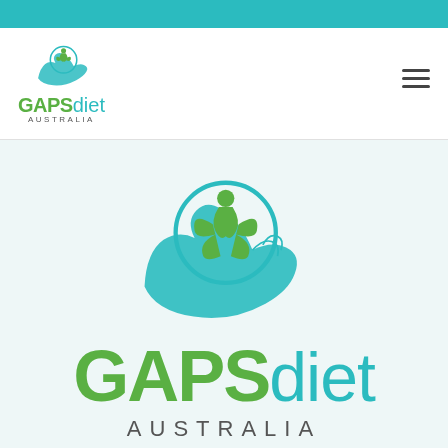[Figure (logo): Teal top bar of website header]
[Figure (logo): GAPSdiet Australia navigation logo with hand and plant icon in top-left of nav bar, and hamburger menu icon top-right]
[Figure (logo): Large GAPSdiet Australia logo centered on light teal background: teal hand holding a circle with green plant and person figure, with large 'GAPSdiet' text and 'AUSTRALIA' subtitle]